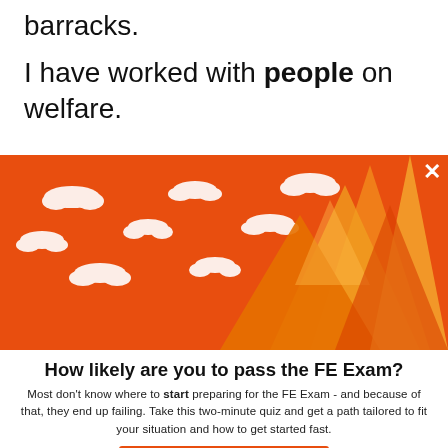barracks.
I have worked with people on welfare.
[Figure (illustration): Orange banner with white clouds and mountain illustration on right side, with an X close button in top right corner]
How likely are you to pass the FE Exam?
Most don't know where to start preparing for the FE Exam - and because of that, they end up failing. Take this two-minute quiz and get a path tailored to fit your situation and how to get started fast.
TAKE THE QUIZ